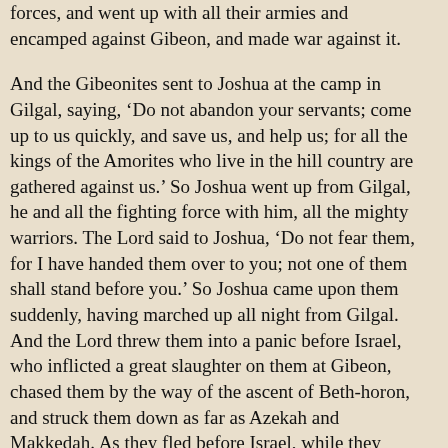forces, and went up with all their armies and encamped against Gibeon, and made war against it.
And the Gibeonites sent to Joshua at the camp in Gilgal, saying, ‘Do not abandon your servants; come up to us quickly, and save us, and help us; for all the kings of the Amorites who live in the hill country are gathered against us.’ So Joshua went up from Gilgal, he and all the fighting force with him, all the mighty warriors. The Lord said to Joshua, ‘Do not fear them, for I have handed them over to you; not one of them shall stand before you.’ So Joshua came upon them suddenly, having marched up all night from Gilgal. And the Lord threw them into a panic before Israel, who inflicted a great slaughter on them at Gibeon, chased them by the way of the ascent of Beth-horon, and struck them down as far as Azekah and Makkedah. As they fled before Israel, while they were going down the slope of Beth-horon, the Lord threw down huge stones from heaven on them as far as Azekah, and they died; there were more who died because of the hailstones than the Israelites killed with the sword.
On the day when the Lord gave the Amorites over to the